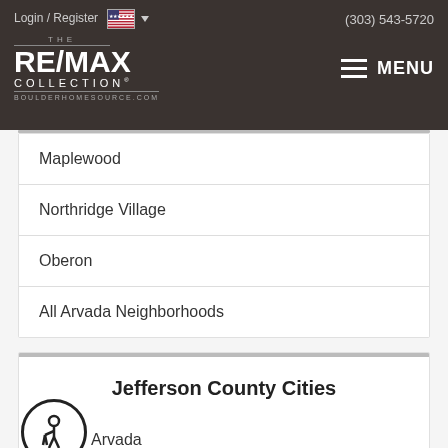Login / Register    (303) 543-5720
[Figure (logo): RE/MAX Collection logo with text THE RE/MAX COLLECTION BOULDERHOMESOURCE.COM on dark brown background, with MENU navigation button]
Maplewood
Northridge Village
Oberon
All Arvada Neighborhoods
Jefferson County Cities
Arvada